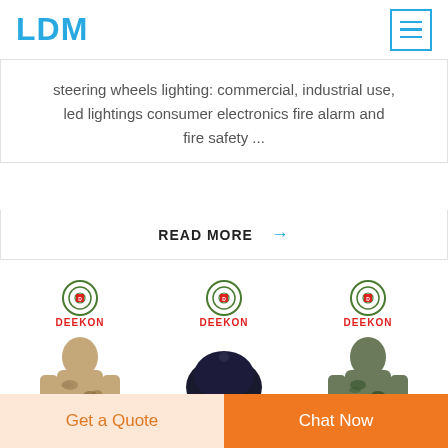LDM
steering wheels lighting: commercial, industrial use, led lightings consumer electronics fire alarm and fire safety ...
READ MORE →
[Figure (photo): Three product cards each with a DEEKON logo. First shows a tan camouflage long coat/poncho. Second shows a black baseball cap. Third shows a green camouflage poncho/coat.]
Get a Quote
Chat Now